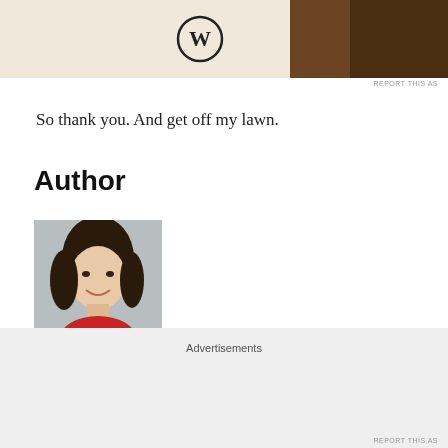[Figure (photo): WordPress logo advertisement banner at top of page with brown background]
So thank you. And get off my lawn.
Author
[Figure (photo): Headshot of Gabrielle Bauer — woman with dark hair wearing a red top, smiling, against a grey background]
Gabrielle Bauer Gabrielle divides her time between writing books, articles, and clinical materials for health professionals. She has received six national
Advertisements